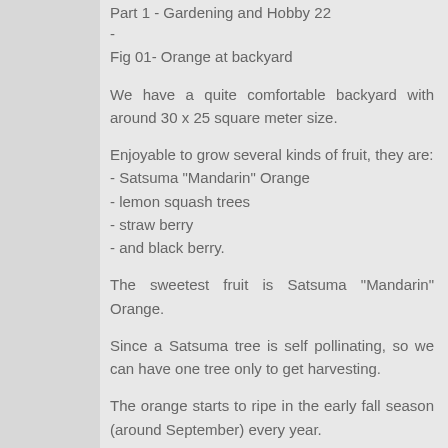Part 1 - Gardening and Hobby 22
-
Fig 01- Orange at backyard
We have a quite comfortable backyard with around 30 x 25 square meter size.
Enjoyable to grow several kinds of fruit, they are:
- Satsuma "Mandarin" Orange
- lemon squash trees
- straw berry
- and black berry.
The sweetest fruit is Satsuma "Mandarin" Orange.
Since a Satsuma tree is self pollinating, so we can have one tree only to get harvesting.
The orange starts to ripe in the early fall season (around September) every year.
My single tree could produce hundred of